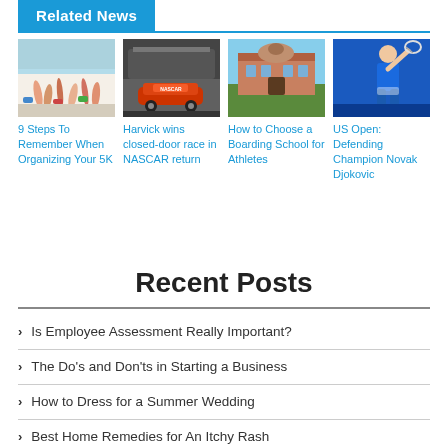Related News
[Figure (photo): 4 thumbnail images: running race legs, NASCAR race car, boarding school building, Novak Djokovic tennis player]
9 Steps To Remember When Organizing Your 5K
Harvick wins closed-door race in NASCAR return
How to Choose a Boarding School for Athletes
US Open: Defending Champion Novak Djokovic
Recent Posts
Is Employee Assessment Really Important?
The Do's and Don'ts in Starting a Business
How to Dress for a Summer Wedding
Best Home Remedies for An Itchy Rash